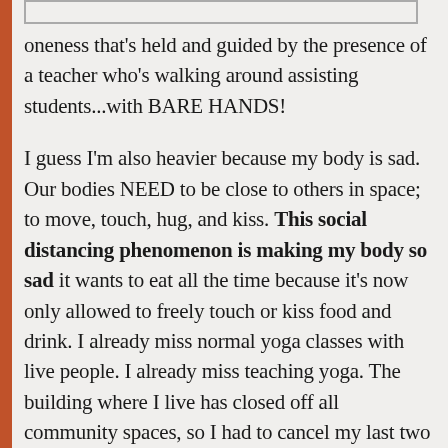oneness that's held and guided by the presence of a teacher who's walking around assisting students...with BARE HANDS!
I guess I'm also heavier because my body is sad. Our bodies NEED to be close to others in space; to move, touch, hug, and kiss. This social distancing phenomenon is making my body so sad it wants to eat all the time because it's now only allowed to freely touch or kiss food and drink. I already miss normal yoga classes with live people. I already miss teaching yoga. The building where I live has closed off all community spaces, so I had to cancel my last two classes.